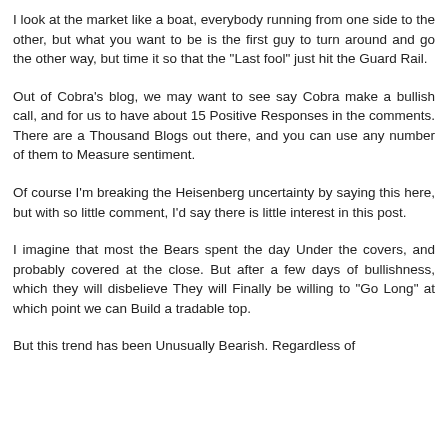I look at the market like a boat, everybody running from one side to the other, but what you want to be is the first guy to turn around and go the other way, but time it so that the "Last fool" just hit the Guard Rail.
Out of Cobra's blog, we may want to see say Cobra make a bullish call, and for us to have about 15 Positive Responses in the comments. There are a Thousand Blogs out there, and you can use any number of them to Measure sentiment.
Of course I'm breaking the Heisenberg uncertainty by saying this here, but with so little comment, I'd say there is little interest in this post.
I imagine that most the Bears spent the day Under the covers, and probably covered at the close. But after a few days of bullishness, which they will disbelieve They will Finally be willing to "Go Long" at which point we can Build a tradable top.
But this trend has been Unusually Bearish. Regardless of